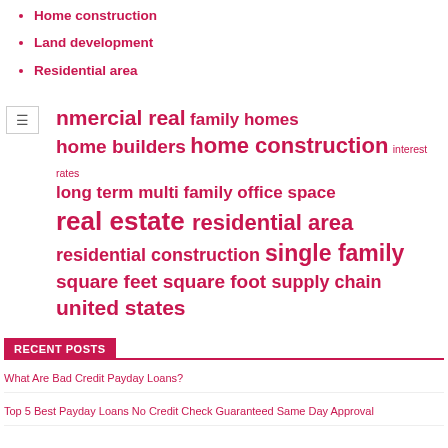Home construction
Land development
Residential area
[Figure (infographic): Tag cloud with terms: commercial real, family homes, home builders, home construction, interest rates, long term, multi family, office space, real estate, residential area, residential construction, single family, square feet, square foot, supply chain, united states — in varying pink font sizes. Menu/hamburger icon overlay on left.]
RECENT POSTS
What Are Bad Credit Payday Loans?
Top 5 Best Payday Loans No Credit Check Guaranteed Same Day Approval